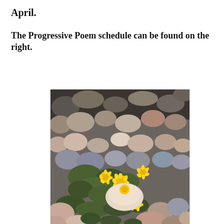April.
The Progressive Poem schedule can be found on the right.
[Figure (photo): A close-up photograph of yellow dandelion flowers growing among river rocks and gravel, with green leaves visible between the stones.]